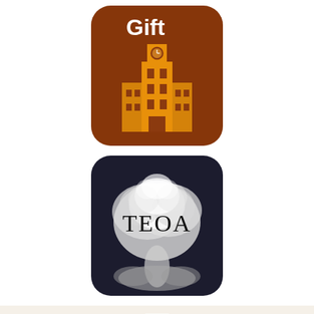[Figure (logo): App icon with orange/brown background showing a university clock tower building with the word 'Gift' in white text at the top]
[Figure (logo): App icon with dark navy background showing a mushroom cloud explosion with the text 'TEOA' overlaid in the center, rounded corners]
[Figure (logo): Foodways Texas logo on a cream/beige background: black ornate badge shape with white outline of Texas state above it, white text reading 'FOODWAYS' inside the badge]